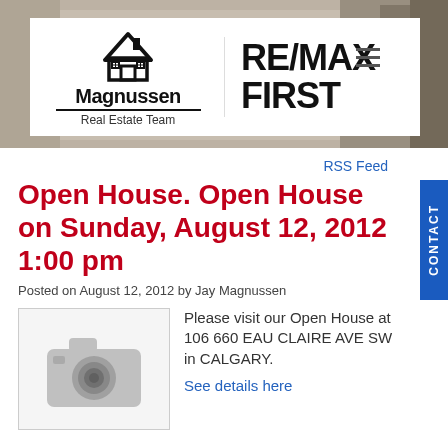[Figure (logo): Magnussen Real Estate Team / RE/MAX FIRST logo on white background over a blurred interior home photo header]
RSS Feed
Open House. Open House on Sunday, August 12, 2012 1:00 pm
Posted on August 12, 2012 by Jay Magnussen
[Figure (photo): Placeholder camera icon image for property listing]
Please visit our Open House at 106 660 EAU CLAIRE AVE SW in CALGARY.
See details here